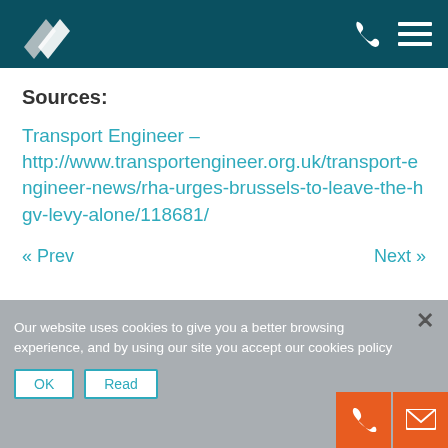[Logo and navigation icons]
Sources:
Transport Engineer – http://www.transportengineer.org.uk/transport-engineer-news/rha-urges-brussels-to-leave-the-hgv-levy-alone/118681/
« Prev   Next »
Our website uses cookies to give you a better browsing experience, and by using our site you accept our cookies policy